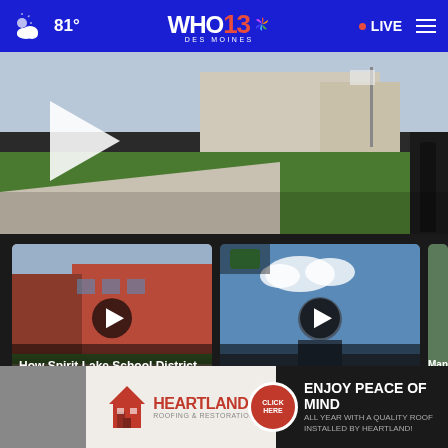81° WHO 13 DES MOINES NBC • LIVE
[Figure (screenshot): Video thumbnail showing outdoor school building area with play button overlay]
[Figure (screenshot): Video thumbnail of school building - How Spirit Lake School District will train... - 10 mins ago]
How Spirit Lake School District will train...
10 mins ago
[Figure (screenshot): Video thumbnail of weather forecaster - Ed's Evening Forecast - 20 mins ago]
Ed's Evening Forecast
20 mins ago
[Figure (screenshot): Partially visible video thumbnail - Man sh... in 'tar...]
Man sh... in 'tar...
More Videos ›
[Figure (screenshot): Heartland advertisement - ENJOY PEACE OF MIND ALL YEAR WITH A QUALITY ROOF INSTALLED BY HEARTLAND!]